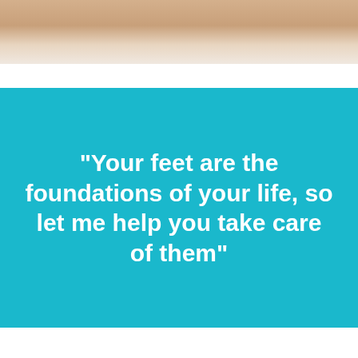[Figure (photo): Partial photo of feet/legs on a light floor, cropped to show only the upper portion]
"Your feet are the foundations of your life, so let me help you take care of them"